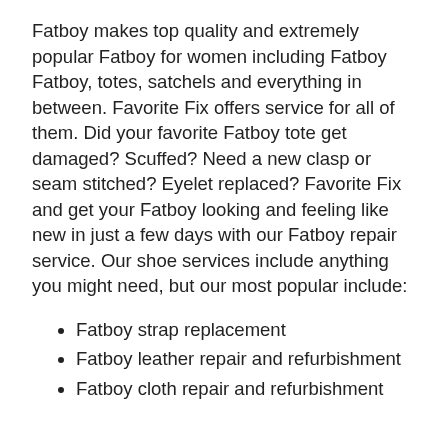Fatboy makes top quality and extremely popular Fatboy for women including Fatboy Fatboy, totes, satchels and everything in between. Favorite Fix offers service for all of them. Did your favorite Fatboy tote get damaged? Scuffed? Need a new clasp or seam stitched? Eyelet replaced? Favorite Fix and get your Fatboy looking and feeling like new in just a few days with our Fatboy repair service. Our shoe services include anything you might need, but our most popular include:
Fatboy strap replacement
Fatboy leather repair and refurbishment
Fatboy cloth repair and refurbishment